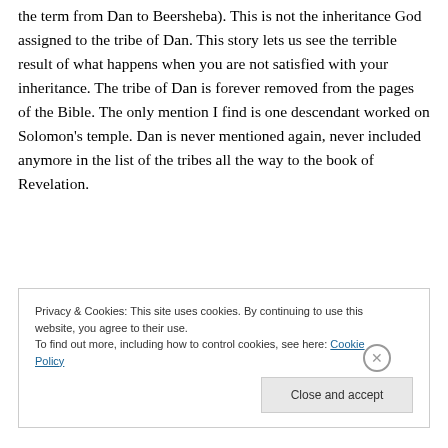tried to conquer. Later, they rename the city Dan (hence the term from Dan to Beersheba). This is not the inheritance God assigned to the tribe of Dan. This story lets us see the terrible result of what happens when you are not satisfied with your inheritance. The tribe of Dan is forever removed from the pages of the Bible. The only mention I find is one descendant worked on Solomon’s temple. Dan is never mentioned again, never included anymore in the list of the tribes all the way to the book of Revelation.
Privacy & Cookies: This site uses cookies. By continuing to use this website, you agree to their use.
To find out more, including how to control cookies, see here: Cookie Policy